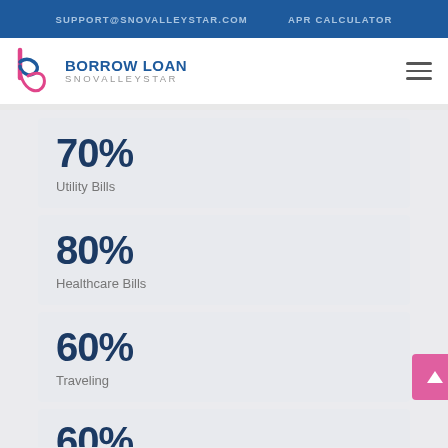SUPPORT@SNOVALLEYSTAR.COM   APR CALCULATOR
[Figure (logo): Borrow Loan SnoValleyStar logo with stylized 'b' in pink/magenta and blue text]
70%
Utility Bills
80%
Healthcare Bills
60%
Traveling
60%